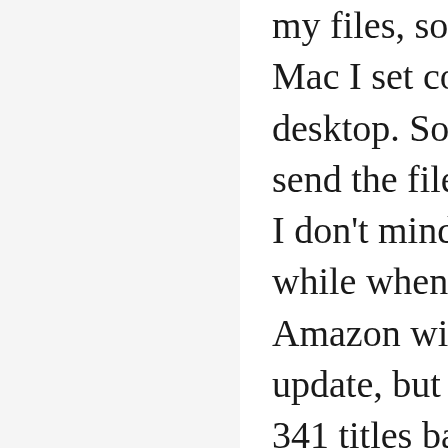my files, so in preferences for Kindle for Mac I set content to a folder on my desktop. Some people set up automator to send the files automatically to Calibre, but I don't mind doing it manually once in a while when I get a new book. I'm sure Amazon will eventually force me to update, but in the meantime I'll have my 341 titles backed up in Calibre. I hate that Amazon makes it such a hassle to manage your own library. The Kindle app is fine for reading, but it sucks terribly for organizing. As an archivist and